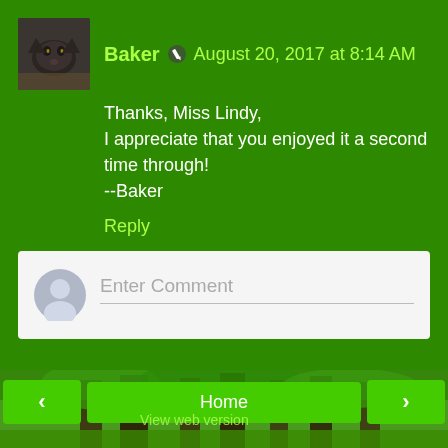[Figure (screenshot): Small cat avatar photo in the comment section]
Baker  August 20, 2017 at 8:14 AM
Thanks, Miss Lindy,
I appreciate that you enjoyed it a second time through!
--Baker
Reply
Enter Comment
Home
View web version
About Me
[Figure (screenshot): Small cat photo in About Me sidebar section]
Baker
View my complete profile